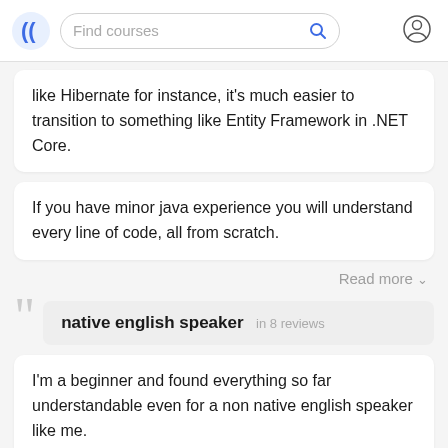Find courses
like Hibernate for instance, it's much easier to transition to something like Entity Framework in .NET Core.
If you have minor java experience you will understand every line of code, all from scratch.
Read more
native english speaker  in 8 reviews
I'm a beginner and found everything so far understandable even for a non native english speaker like me.
Sho...